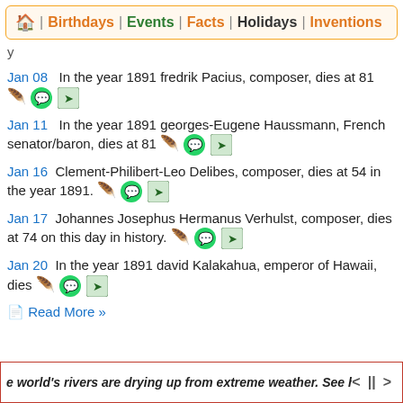🏠 | Birthdays | Events | Facts | Holidays | Inventions
Jan 08   In the year 1891 fredrik Pacius, composer, dies at 81
Jan 11   In the year 1891 georges-Eugene Haussmann, French senator/baron, dies at 81
Jan 16   Clement-Philibert-Leo Delibes, composer, dies at 54 in the year 1891.
Jan 17   Johannes Josephus Hermanus Verhulst, composer, dies at 74 on this day in history.
Jan 20   In the year 1891 david Kalakahua, emperor of Hawaii, dies
📄 Read More »
e world's rivers are drying up from extreme weather. See how